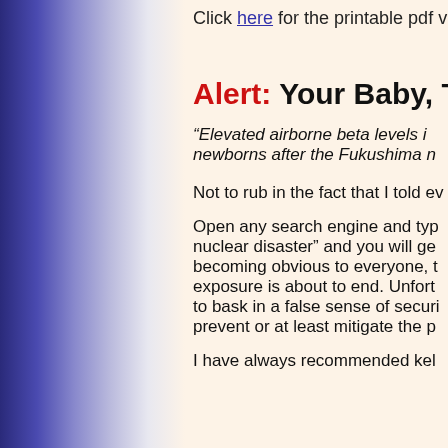Click here for the printable pdf ve...
Alert: Your Baby, Thy...
“Elevated airborne beta levels i... newborns after the Fukushima n...
Not to rub in the fact that I told ev...
Open any search engine and typ... nuclear disaster” and you will ge... becoming obvious to everyone, t... exposure is about to end. Unfortu... to bask in a false sense of securi... prevent or at least mitigate the p...
I have always recommended kel...